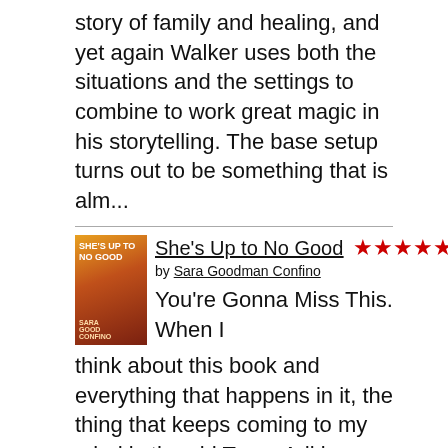story of family and healing, and yet again Walker uses both the situations and the settings to combine to work great magic in his storytelling. The base setup turns out to be something that is alm...
[Figure (illustration): Book cover for She's Up to No Good by Sara Goodman Confino]
She's Up to No Good
★★★★★
by Sara Goodman Confino
You're Gonna Miss This. When I think about this book and everything that happens in it, the thing that keeps coming to my mind is the old Trace Adkins song "You're Gonna Miss This". You've got all kinds of things going on here - a 3os-is...
[Figure (illustration): Book cover for The Italian Daughter by Soraya M. Lane]
The Italian Daughter
★★★★★
by Soraya M. Lane
Slight Departure From Lane's Typical Approach, Same Great